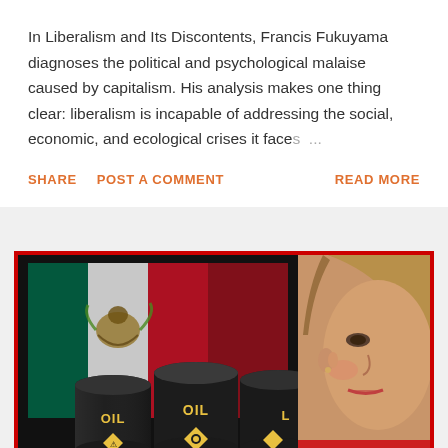In Liberalism and Its Discontents, Francis Fukuyama diagnoses the political and psychological malaise caused by capitalism. His analysis makes one thing clear: liberalism is incapable of addressing the social, economic, and ecological crises it faces ...
SHARE   POST A COMMENT   READ MORE
[Figure (photo): Composite image showing oil barrels labeled OIL with hazard symbols, a Mexican flag in the background, and a woman's face (resembling a political figure) on the right side, all against a dark background with a red border.]